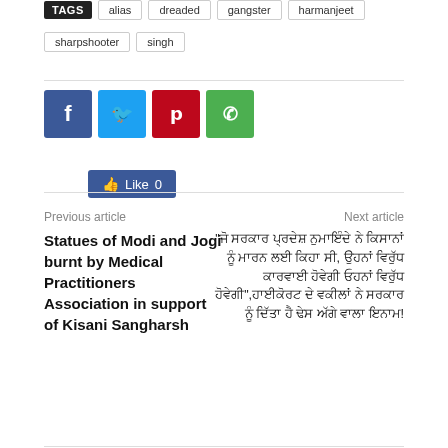TAGS  alias  dreaded  gangster  harmanjeet  sharpshooter  singh
[Figure (other): Social media buttons: Like 0 (Facebook like), Facebook share, Twitter share, Pinterest share, WhatsApp share]
Previous article
Next article
Statues of Modi and Jogi burnt by Medical Practitioners Association in support of Kisani Sangharsh
“ਜੋ ਸਰਕਾਰ ਪ੍ਰਦੇਸ‍ ਨੁਮਾਇੰਦੇ ਨੇ ਕਿਸਾਨਾਂ ਨੁਂ ਮਾਰਨ ਲਈ ਕਿਹਾ ਸੀ, ਉਹਨਾਂ ਵਿਰੁੱਧ‍ ਕਾਰਵਾਈ ਹੋਵੇਗੀ ਓਹਨਾਂ ਵਿਰੁੱਧ‍ ਹੋਵੇਗੀ",ਹਾਈਕੋਰਟ ਦੇ ਵਕੀਲਾਂ ਨੇ ਸਰਕਾਰ ਨੁੰ ਦਿੱਤਾ ਹੈ ਠੇਸ ਁਗੇ ਵਾਲਾ ਇਨਾਮ!